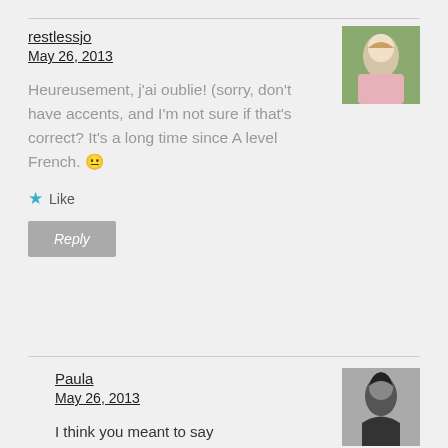restlessjo
May 26, 2013
Heureusement, j’ai oublie! (sorry, don’t have accents, and I’m not sure if that's correct? It's a long time since A level French. 😐
★ Like
Reply
Paula
May 26, 2013
I think you meant to say “malheureusment” as in unfortunately :D. I appreciate the